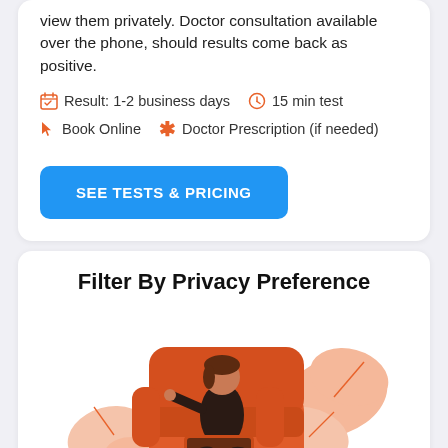View them privately. Doctor consultation available over the phone, should results come back as positive.
Result: 1-2 business days   15 min test
Book Online   Doctor Prescription (if needed)
SEE TESTS & PRICING
Filter By Privacy Preference
[Figure (illustration): Illustration of a person sitting in an orange armchair, holding a laptop, surrounded by tropical leaves]